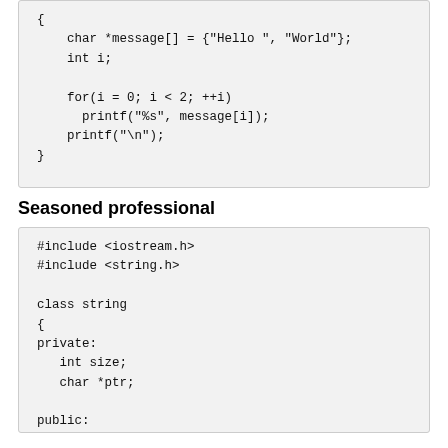{
    char *message[] = {"Hello ", "World"};
    int i;

    for(i = 0; i < 2; ++i)
      printf("%s", message[i]);
    printf("\n");
}
Seasoned professional
#include <iostream.h>
#include <string.h>

class string
{
private:
   int size;
   char *ptr;

public:
   string() : size(0), ptr(new char('\0')) {}

   string(const string &s) : size(s.size)